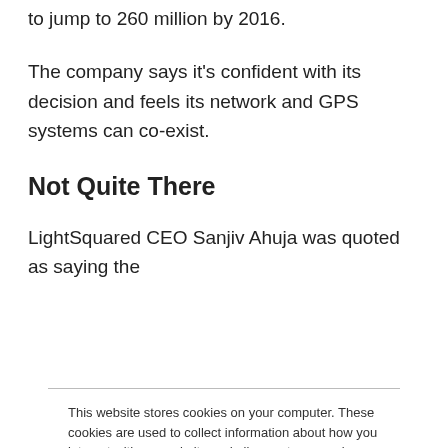to jump to 260 million by 2016.
The company says it's confident with its decision and feels its network and GPS systems can co-exist.
Not Quite There
LightSquared CEO Sanjiv Ahuja was quoted as saying the
This website stores cookies on your computer. These cookies are used to collect information about how you interact with our website and allow us to remember you. We use this information in order to improve and customize your browsing experience and for analytics and metrics about our visitors both on this website and other media. To find out more about the cookies we use, see our Privacy Policy. California residents have the right to direct us not to sell their personal information to third parties by filing an Opt-Out Request: Do Not Sell My Personal Info.